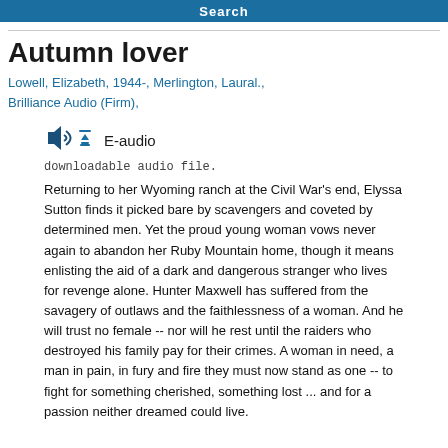Search
Autumn lover
Lowell, Elizabeth, 1944-, Merlington, Laural., Brilliance Audio (Firm),
[Figure (infographic): Speaker with sound waves icon and download arrow icon indicating E-audio]
E-audio
downloadable audio file.
Returning to her Wyoming ranch at the Civil War's end, Elyssa Sutton finds it picked bare by scavengers and coveted by determined men. Yet the proud young woman vows never again to abandon her Ruby Mountain home, though it means enlisting the aid of a dark and dangerous stranger who lives for revenge alone. Hunter Maxwell has suffered from the savagery of outlaws and the faithlessness of a woman. And he will trust no female -- nor will he rest until the raiders who destroyed his family pay for their crimes. A woman in need, a man in pain, in fury and fire they must now stand as one -- to fight for something cherished, something lost ... and for a passion neither dreamed could live.